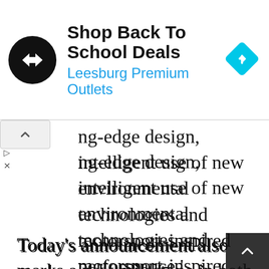[Figure (screenshot): Advertisement banner for 'Shop Back To School Deals' at Leesburg Premium Outlets, showing a black circular logo with double-arrow symbol and a cyan navigation diamond icon on the right.]
ing-edge design, intelligent use of new environmental technologies and motorsport-inspired performance.'
Today’s announcement also marks a new milestone in both companies’ histories as Jaguar Land Rover and Williams collaborate for the first time to produce one of the world’s highest performance and environmentally sustainable supercars. The production of Jaguar C- will create more than one hundred highly-